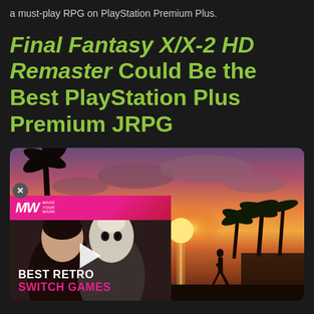a must-play RPG on PlayStation Premium Plus.
Final Fantasy X/X-2 HD Remaster Could Be the Best PlayStation Plus Premium JRPG
[Figure (screenshot): Screenshot showing a video player with a sunset beach scene. A silhouetted figure stands in water holding a paddle with palm trees and glowing sky. An overlay video thumbnail shows two characters with a MW (MakoWave) logo in pink, a play button, and text reading BEST RETRO SWITCH GAMES. A close button (X) is visible on the left.]